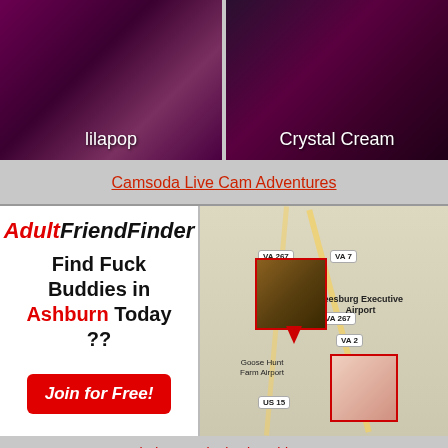[Figure (photo): Two live cam thumbnails side by side: left shows 'lilapop', right shows 'Crystal Cream']
lilapop
Crystal Cream
Camsoda Live Cam Adventures
[Figure (infographic): AdultFriendFinder advertisement with text 'Find Fuck Buddies in Ashburn Today ??' and 'Join for Free!' button]
[Figure (map): Map showing Leesburg Executive Airport area in Virginia with route markers VA 267, VA 7, US 15, Goose Hunt Farm Airport, and two thumbnail overlays]
Find Sexy Singles in Ashburn!